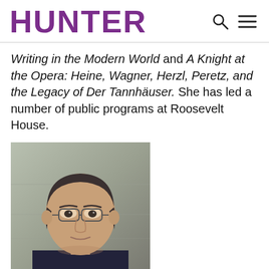HUNTER
Writing in the Modern World and A Knight at the Opera: Heine, Wagner, Herzl, Peretz, and the Legacy of Der Tannhäuser. She has led a number of public programs at Roosevelt House.
[Figure (photo): Portrait photo of a middle-aged man with glasses and dark hair, wearing a dark shirt, photographed against a stone wall background.]